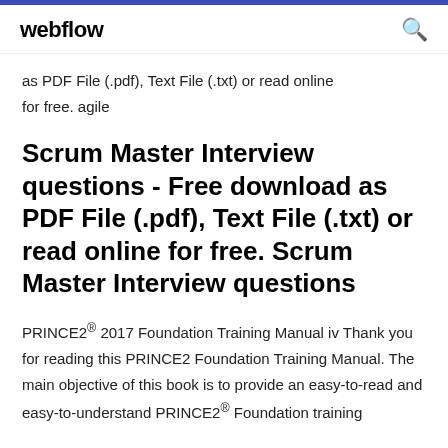webflow
as PDF File (.pdf), Text File (.txt) or read online for free. agile
Scrum Master Interview questions - Free download as PDF File (.pdf), Text File (.txt) or read online for free. Scrum Master Interview questions
PRINCE2® 2017 Foundation Training Manual iv Thank you for reading this PRINCE2 Foundation Training Manual. The main objective of this book is to provide an easy-to-read and easy-to-understand PRINCE2® Foundation training